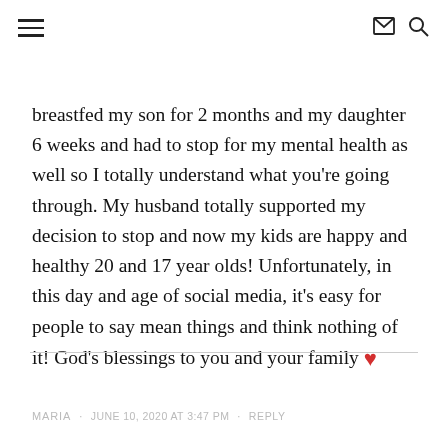[hamburger menu icon] [envelope icon] [search icon]
breastfed my son for 2 months and my daughter 6 weeks and had to stop for my mental health as well so I totally understand what you're going through. My husband totally supported my decision to stop and now my kids are happy and healthy 20 and 17 year olds! Unfortunately, in this day and age of social media, it's easy for people to say mean things and think nothing of it! God's blessings to you and your family ❤
MARIA · JUNE 10, 2020 AT 3:47 PM · REPLY